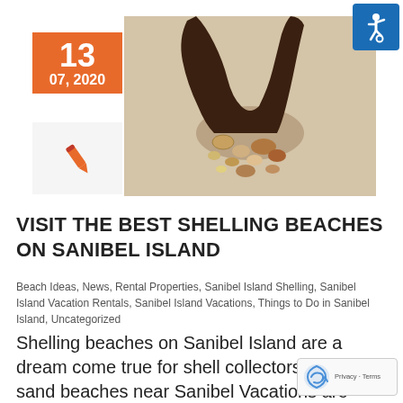[Figure (other): Orange date block showing '13' and '07, 2020']
[Figure (other): Gray box with orange pencil/edit icon]
[Figure (photo): Photo of hands picking up seashells on a sandy surface]
[Figure (logo): Blue accessibility icon (wheelchair symbol) in top right corner]
VISIT THE BEST SHELLING BEACHES ON SANIBEL ISLAND
Beach Ideas, News, Rental Properties, Sanibel Island Shelling, Sanibel Island Vacation Rentals, Sanibel Island Vacations, Things to Do in Sanibel Island, Uncategorized
Shelling beaches on Sanibel Island are a dream come true for shell collectors. The soft-sand beaches near Sanibel Vacations are abundant with a vari of crustacean treasures. We harbor